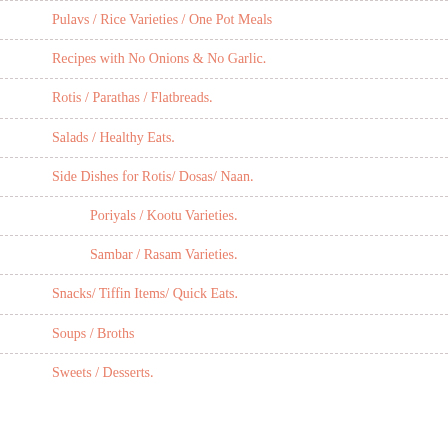Pulavs / Rice Varieties / One Pot Meals
Recipes with No Onions & No Garlic.
Rotis / Parathas / Flatbreads.
Salads / Healthy Eats.
Side Dishes for Rotis/ Dosas/ Naan.
Poriyals / Kootu Varieties.
Sambar / Rasam Varieties.
Snacks/ Tiffin Items/ Quick Eats.
Soups / Broths
Sweets / Desserts.